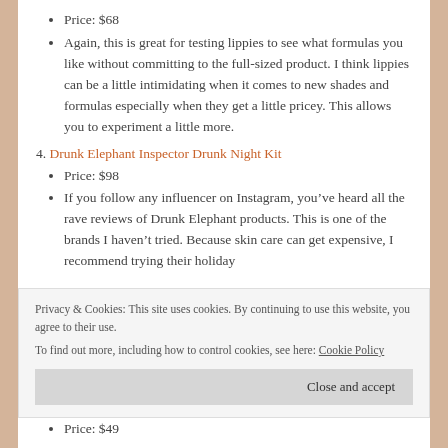Price: $68
Again, this is great for testing lippies to see what formulas you like without committing to the full-sized product. I think lippies can be a little intimidating when it comes to new shades and formulas especially when they get a little pricey. This allows you to experiment a little more.
4. Drunk Elephant Inspector Drunk Night Kit
Price: $98
If you follow any influencer on Instagram, you’ve heard all the rave reviews of Drunk Elephant products. This is one of the brands I haven’t tried. Because skin care can get expensive, I recommend trying their holiday
Privacy & Cookies: This site uses cookies. By continuing to use this website, you agree to their use.
To find out more, including how to control cookies, see here: Cookie Policy
Close and accept
Price: $49